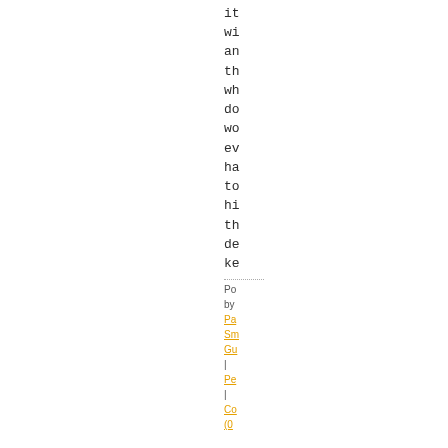it
wi
an
th
wh
do
wo
ev
ha
to
hi
th
de
ke
Po
by
Pa
Sm
Gu
|
Pe
|
Co
(0